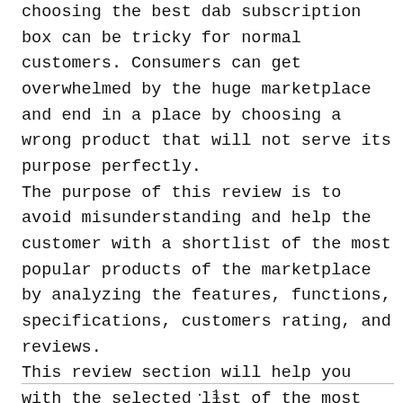choosing the best dab subscription box can be tricky for normal customers. Consumers can get overwhelmed by the huge marketplace and end in a place by choosing a wrong product that will not serve its purpose perfectly. The purpose of this review is to avoid misunderstanding and help the customer with a shortlist of the most popular products of the marketplace by analyzing the features, functions, specifications, customers rating, and reviews. This review section will help you with the selected list of the most favored and trended items of the marketplace where you can easily check the reviews from the actual customers.
· 1